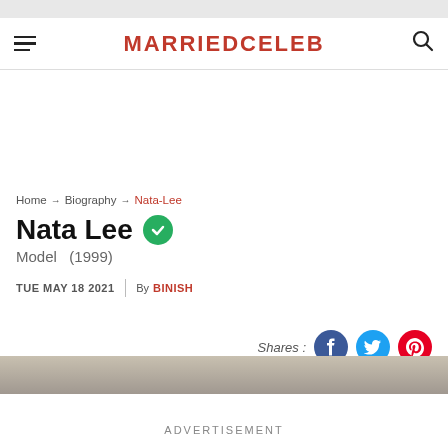MARRIEDCELEB
Home → Biography → Nata-Lee
Nata Lee
Model   (1999)
TUE MAY 18 2021  |  By  BINISH
Shares:
[Figure (screenshot): Partial photo of Nata Lee at bottom of page]
ADVERTISEMENT